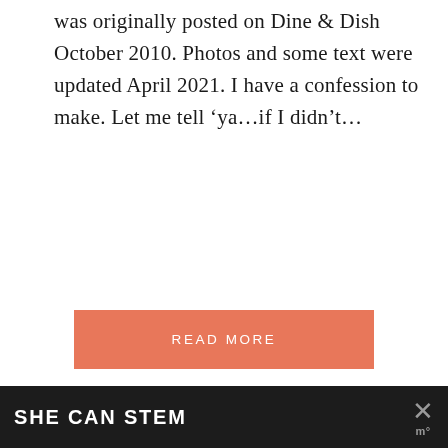was originally posted on Dine & Dish October 2010. Photos and some text were updated April 2021. I have a confession to make. Let me tell ‘ya…if I didn’t…
READ MORE
[Figure (screenshot): Heart/like button icon (salmon/coral circle with white heart)]
[Figure (screenshot): Share button icon (white circle with share/network icon)]
WHAT'S NEXT →
A Day of Social Media...
[Figure (photo): Partial image showing text 'Southern' in decorative italic font on a light gray background]
SHE CAN STEM